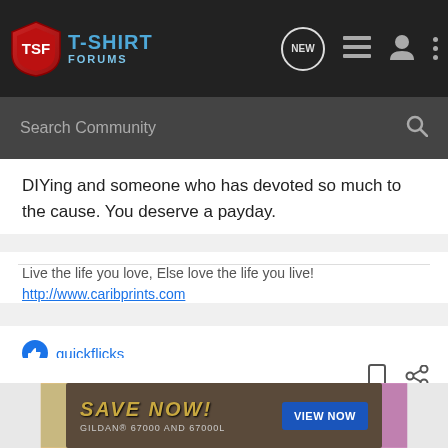[Figure (screenshot): T-Shirt Forums navigation bar with logo, NEW icon, list icon, user icon, dots icon]
[Figure (screenshot): Dark search bar with 'Search Community' placeholder text and magnifier icon]
DIYing and someone who has devoted so much to the cause. You deserve a payday.
Live the life you love, Else love the life you live!
http://www.caribprints.com
quickflicks
[Figure (screenshot): Forum action icons: bookmark and share]
[Figure (photo): Fruit of the Loom HD Cotton ad banner with woman smiling and child in pink shirt]
[Figure (infographic): SAVE NOW! Gildan 67000 and 67000L advertisement with VIEW NOW button]